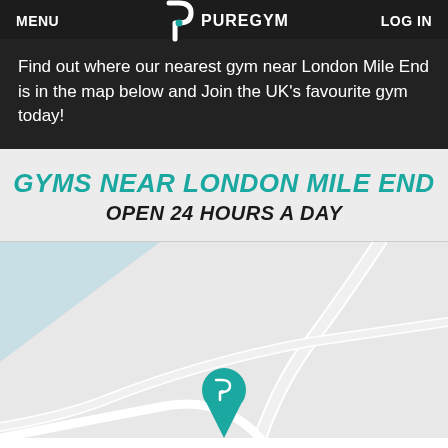MENU | PUREGYM | LOG IN
Find out where our nearest gym near London Mile End is in the map below and Join the UK's favourite gym today!
GYMS NEAR LONDON MILE END
OPEN 24 HOURS A DAY
[Figure (map): Street map showing a PureGym location marker near London Mile End. The map displays light grey roads and a light blue body of water in the upper left. A teal PureGym pin/location marker is visible near the bottom center of the map.]